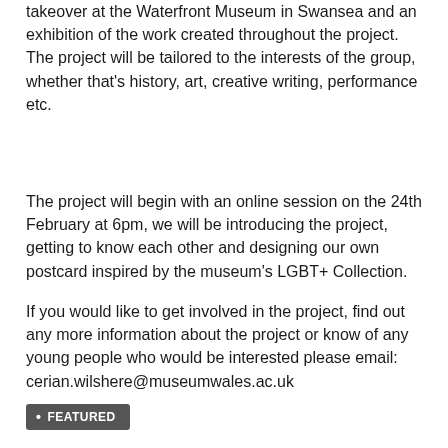takeover at the Waterfront Museum in Swansea and an exhibition of the work created throughout the project. The project will be tailored to the interests of the group, whether that's history, art, creative writing, performance etc.
The project will begin with an online session on the 24th February at 6pm, we will be introducing the project, getting to know each other and designing our own postcard inspired by the museum's LGBT+ Collection.
If you would like to get involved in the project, find out any more information about the project or know of any young people who would be interested please email: cerian.wilshere@museumwales.ac.uk
FEATURED